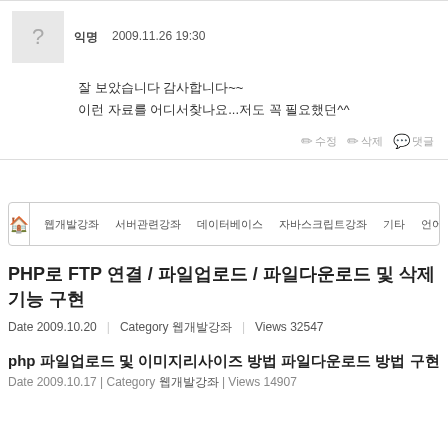익명  2009.11.26 19:30
잘 보았습니다 감사합니다~~
이런 자료를 어디서찾나요...저도 꼭 필요했던^^
✏ 수정  ✏ 삭제  💬 댓글
PHP로 FTP 연결 / 파일업로드 / 파일다운로드 및 삭제 기능 구현  Date 2009.10.20 | Category 웹개발강좌 | Views 32547
php 파일업로드 및 이미지리사이즈 방법 파일다운로드 방법 구현  Date 2009.10.17 | Category 웹개발강좌 | Views 14907